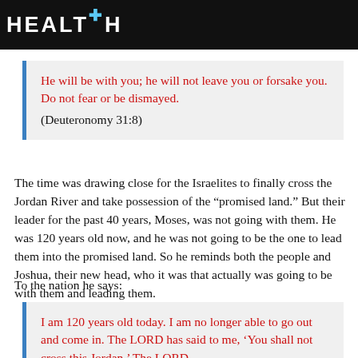HEALTH
He will be with you; he will not leave you or forsake you. Do not fear or be dismayed. (Deuteronomy 31:8)
The time was drawing close for the Israelites to finally cross the Jordan River and take possession of the “promised land.” But their leader for the past 40 years, Moses, was not going with them. He was 120 years old now, and he was not going to be the one to lead them into the promised land. So he reminds both the people and Joshua, their new head, who it was that actually was going to be with them and leading them.
To the nation he says:
I am 120 years old today. I am no longer able to go out and come in. The LORD has said to me, ‘You shall not cross this Jordan.’ The LORD